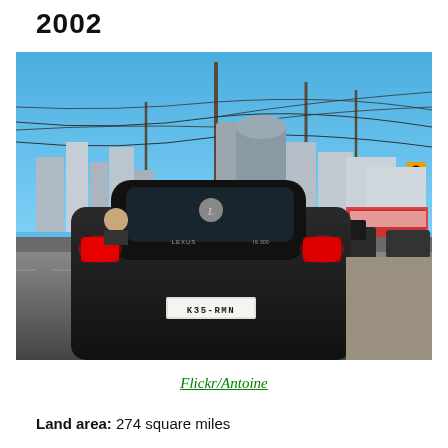2002
[Figure (photo): Street-level photo of a city intersection with a black Lexus (license plate K35-RMN) in the foreground, urban skyline with tall buildings in the background, overhead power lines, traffic lights, and blue sky. Taken in 2002.]
Flickr/Antoine
Land area: 274 square miles